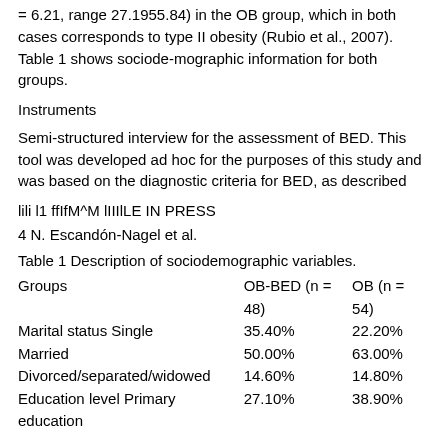= 6.21, range 27.1955.84) in the OB group, which in both cases corresponds to type II obesity (Rubio et al., 2007). Table 1 shows sociode-mographic information for both groups.
Instruments
Semi-structured interview for the assessment of BED. This tool was developed ad hoc for the purposes of this study and was based on the diagnostic criteria for BED, as described
lili l1 ffIfM^M lIIIlLE IN PRESS
4 N. Escandón-Nagel et al.
Table 1 Description of sociodemographic variables.
| Groups | OB-BED (n = 48) | OB (n = 54) |
| --- | --- | --- |
| Marital status Single | 35.40% | 22.20% |
| Married | 50.00% | 63.00% |
| Divorced/separated/widowed | 14.60% | 14.80% |
| Education level Primary education | 27.10% | 38.90% |